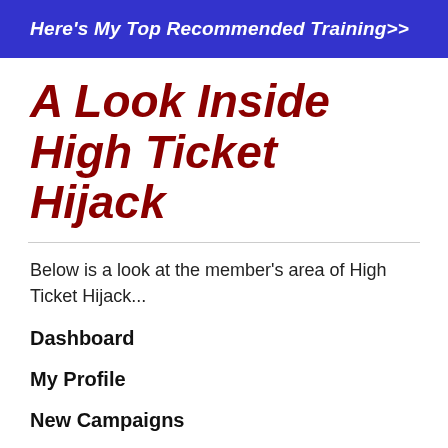Here's My Top Recommended Training>>
A Look Inside High Ticket Hijack
Below is a look at the member's area of High Ticket Hijack...
Dashboard
My Profile
New Campaigns